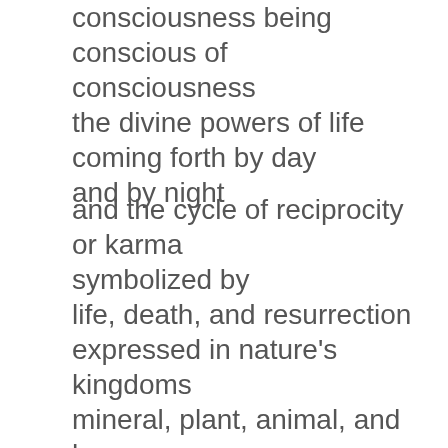consciousness being conscious of consciousness
the divine powers of life
coming forth by day
and by night
and the cycle of reciprocity
or karma
symbolized by
life, death, and resurrection
expressed in nature's kingdoms
mineral, plant, animal, and human
embodied in our bodies
its organs
and metaphorized in each blink